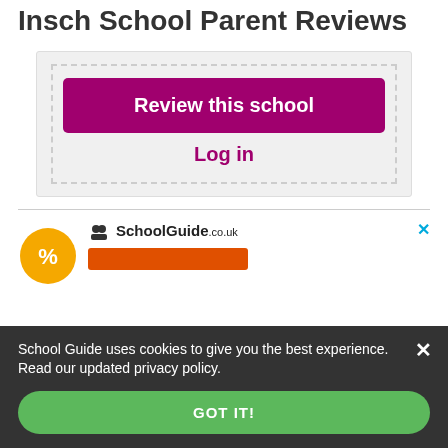Insch School Parent Reviews
Review this school
Log in
[Figure (infographic): Partial yellow circular graphic and SchoolGuide.co.uk advertisement logo with an orange button, and a close (X) button in cyan]
School Guide uses cookies to give you the best experience. Read our updated privacy policy.
GOT IT!